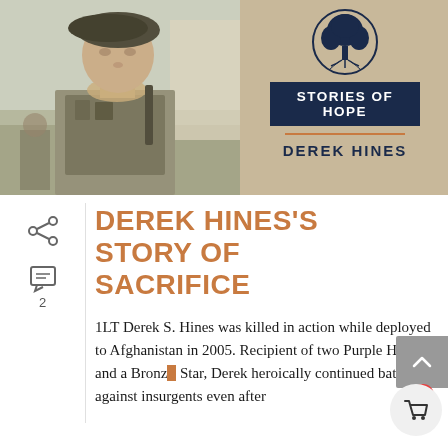[Figure (photo): Military soldier in tactical gear with beret in outdoor/dusty environment, appears to be in Afghanistan]
[Figure (logo): Tree logo in circle with text STORIES OF HOPE and DEREK HINES below]
DEREK HINES'S STORY OF SACRIFICE
1LT Derek S. Hines was killed in action while deployed to Afghanistan in 2005. Recipient of two Purple Hearts and a Bronze Star, Derek heroically continued battle against insurgents even after